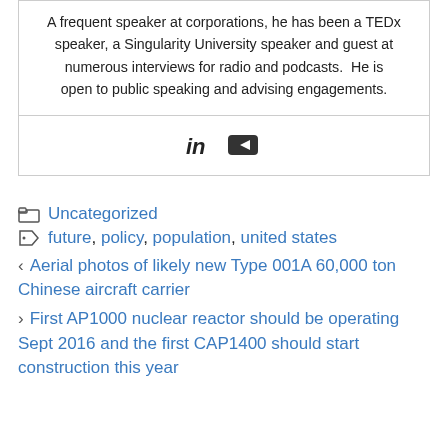A frequent speaker at corporations, he has been a TEDx speaker, a Singularity University speaker and guest at numerous interviews for radio and podcasts.  He is open to public speaking and advising engagements.
[Figure (other): Social media icons: LinkedIn (in) and YouTube (play button rectangle)]
Uncategorized
future, policy, population, united states
< Aerial photos of likely new Type 001A 60,000 ton Chinese aircraft carrier
> First AP1000 nuclear reactor should be operating Sept 2016 and the first CAP1400 should start construction this year